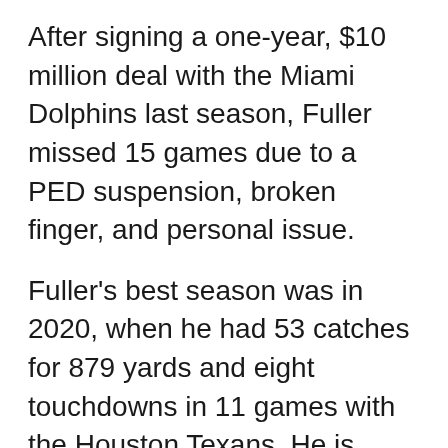After signing a one-year, $10 million deal with the Miami Dolphins last season, Fuller missed 15 games due to a PED suspension, broken finger, and personal issue.
Fuller's best season was in 2020, when he had 53 catches for 879 yards and eight touchdowns in 11 games with the Houston Texans. He is ranked as the second-best wide receiver remaining in free agency, behind Odell Beckham Jr.
"It's safe to say there are red flags, but the man sure can run fast!" NFL.com's Gregg Rosenthal wrote.